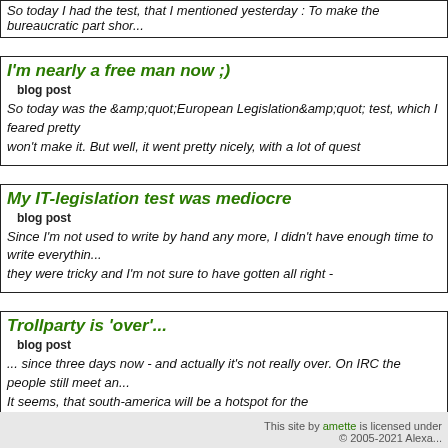So today I had the test, that I mentioned yesterday : To make the bureaucratic part shor...
I'm nearly a free man now ;)
blog post
So today was the &amp;quot;European Legislation&amp;quot; test, which I feared pretty... won't make it. But well, it went pretty nicely, with a lot of quest
My IT-legislation test was mediocre
blog post
Since I'm not used to write by hand any more, I didn't have enough time to write everythin... they were tricky and I'm not sure to have gotten all right -
Trollparty is 'over'...
blog post
... since three days now - and actually it's not really over. On IRC the people still meet an... It seems, that south-america will be a hotspot for the
This site by amette is licensed under © 2005-2021 Alexa...